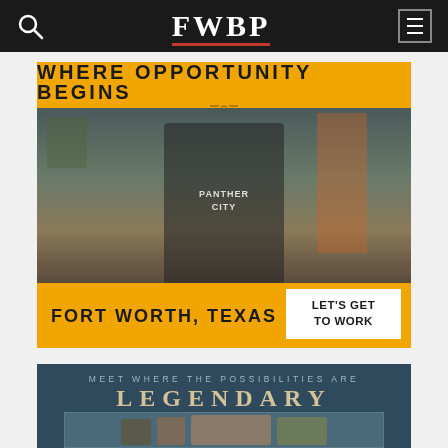FWBP
[Figure (photo): Advertisement for Fort Worth, Texas showing a man in a 'Panther City' sweatshirt standing behind a coffee bar counter. Gold top strip reads 'WHERE OPPORTUNITY BEGINS', gold bottom strip reads 'FORT WORTH, TEXAS' with a white call-to-action box saying 'LET'S GET TO WORK'.]
[Figure (photo): Advertisement with dark blue background reading 'MEET WHERE THE POSSIBILITIES ARE LEGENDARY' with a photo strip showing three people including a woman and a man in a cowboy hat.]